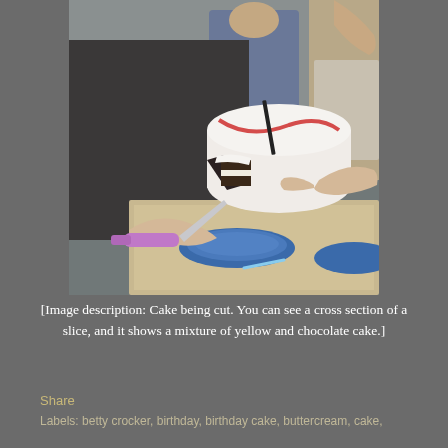[Figure (photo): Photo of a cake being cut. A person's hands are visible holding a knife with a pink/purple handle. A cross section of a slice is visible showing layers of yellow and chocolate cake with white frosting/buttercream. Blue plastic plates are on the table. Another person is visible in the background.]
[Image description: Cake being cut. You can see a cross section of a slice, and it shows a mixture of yellow and chocolate cake.]
Share
Labels: betty crocker, birthday, birthday cake, buttercream, cake,